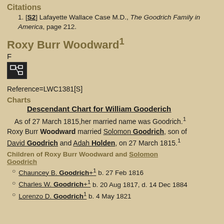Citations
[S2] Lafayette Wallace Case M.D., The Goodrich Family in America, page 212.
Roxy Burr Woodward¹
F
[Figure (other): Small icon box with genealogy/descendant chart icon]
Reference=LWC1381[S]
Charts
Descendant Chart for William Gooderich
As of 27 March 1815,her married name was Goodrich.¹ Roxy Burr Woodward married Solomon Goodrich, son of David Goodrich and Adah Holden, on 27 March 1815.¹
Children of Roxy Burr Woodward and Solomon Goodrich
Chauncey B. Goodrich+¹ b. 27 Feb 1816
Charles W. Goodrich+¹ b. 20 Aug 1817, d. 14 Dec 1884
Lorenzo D. Goodrich¹ b. 4 May 1821